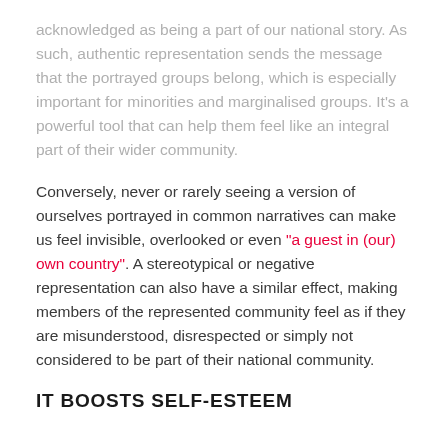acknowledged as being a part of our national story. As such, authentic representation sends the message that the portrayed groups belong, which is especially important for minorities and marginalised groups. It's a powerful tool that can help them feel like an integral part of their wider community.
Conversely, never or rarely seeing a version of ourselves portrayed in common narratives can make us feel invisible, overlooked or even "a guest in (our) own country". A stereotypical or negative representation can also have a similar effect, making members of the represented community feel as if they are misunderstood, disrespected or simply not considered to be part of their national community.
IT BOOSTS SELF-ESTEEM